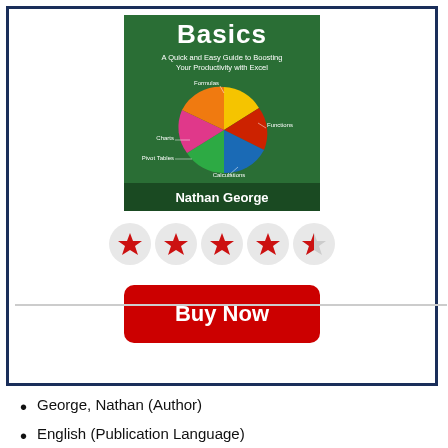[Figure (illustration): Book cover: 'Excel 2016 Basics – A Quick and Easy Guide to Boosting Your Productivity with Excel' by Nathan George. Green background with a colorful pie chart labeled Formulas, Functions, Charts, Pivot Tables, Calculations.]
[Figure (infographic): Rating row: 4 full red stars and 1 half-red star on grey circles, indicating approximately 4.5 out of 5 stars rating.]
Buy Now
George, Nathan (Author)
English (Publication Language)